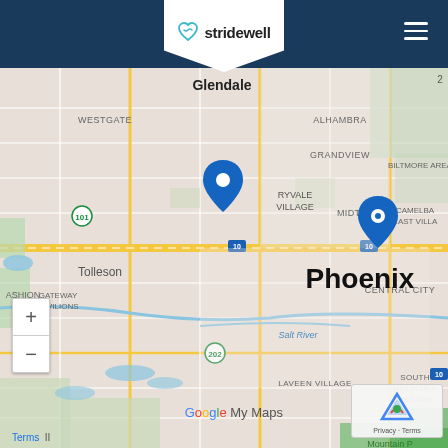[Figure (logo): Stridewell logo — teal heart/shoe icon with text 'stridewell' on white badge/pentagon shape in navy navigation bar]
[Figure (map): Google My Maps screenshot showing Phoenix, Arizona area including neighborhoods: Glendale, Westgate, Alhambra, Grandview, Biltmore Area, Camelback East Village, Midtown, Gateway Pavilions, Tolleson, Central City, Laveen Village, South Mountain Village. Two blue map pin markers visible — one near Maryvale Village area (left) and one near Midtown Phoenix (right). Roads shown include I-10, Route 101, Route 202. Salt River labeled. Map zoom controls (+/-) in bottom left. Google My Maps watermark visible. reCAPTCHA widget in bottom right corner.]